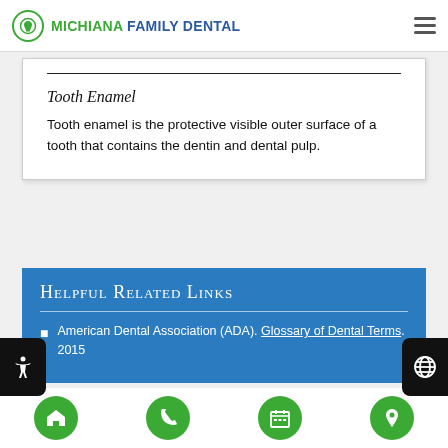MICHIANA FAMILY DENTAL
Tooth Enamel
Tooth enamel is the protective visible outer surface of a tooth that contains the dentin and dental pulp.
Helpful Related Links
American Dental Association (ADA). Glossary of Dental Terms. 2015